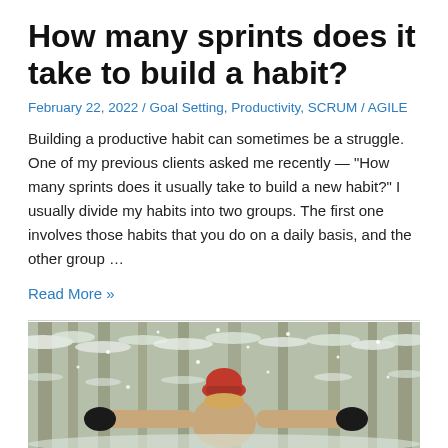How many sprints does it take to build a habit?
February 22, 2022 / Goal Setting, Productivity, SCRUM / AGILE
Building a productive habit can sometimes be a struggle. One of my previous clients asked me recently — “How many sprints does it usually take to build a new habit?” I usually divide my habits into two groups. The first one involves those habits that you do on a daily basis, and the other group …
Read More »
[Figure (photo): A person with a red hat standing in a snowy forest with arms outstretched, snow falling from trees around them.]